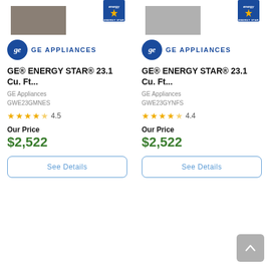[Figure (photo): Product image of GE refrigerator in slate/brown color with ENERGY STAR badge]
[Figure (logo): GE Appliances logo - left product]
GE® ENERGY STAR® 23.1 Cu. Ft...
GE Appliances
GWE23GMNES
★★★★☆ 4.5
Our Price
$2,522
See Details
[Figure (photo): Product image of GE refrigerator in stainless steel color with ENERGY STAR badge]
[Figure (logo): GE Appliances logo - right product]
GE® ENERGY STAR® 23.1 Cu. Ft...
GE Appliances
GWE23GYNFS
★★★★☆ 4.4
Our Price
$2,522
See Details